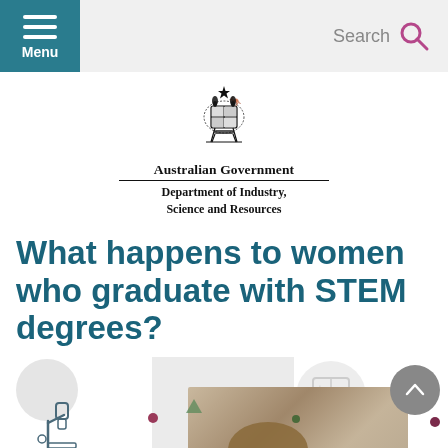Menu | Search
[Figure (logo): Australian Government coat of arms with kangaroo and emu]
Australian Government
Department of Industry, Science and Resources
What happens to women who graduate with STEM degrees?
[Figure (illustration): Decorative strip with microscope icon, calculator icon, photo of person, and scroll-up button]